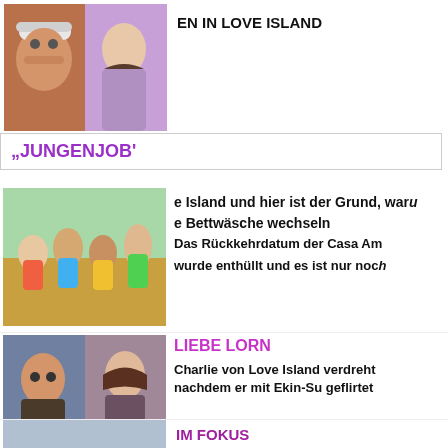[Figure (photo): Two people in a bedroom scene - man with white cap and woman in purple]
EN IN LOVE ISLAND
„JUNGENJOB'
[Figure (photo): Group of women in bikinis sitting by pool at Love Island]
e Island und hier ist der Grund, waru... e Bettwäsche wechseln Das Rückkehrdatum der Casa Am... wurde enthüllt und es ist nur noc...
[Figure (photo): Charlie and woman from Love Island '22]
LIEBE LORN
Charlie von Love Island verdreht nachdem er mit Ekin-Su geflirtet...
[Figure (photo): Bottom card image]
IM FOKUS